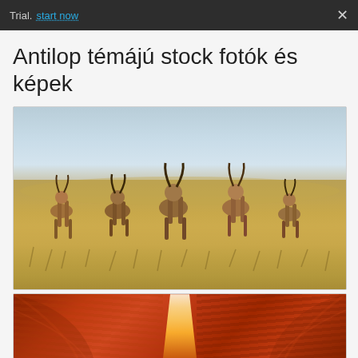Trial. start now
Antilop témájú stock fotók és képek
[Figure (photo): A herd of antelopes standing in an African savanna grassland with a hazy blue sky in the background]
[Figure (photo): Antelope Canyon rock formation with narrow slot canyon walls in deep red-orange tones with a beam of light shining through the center]